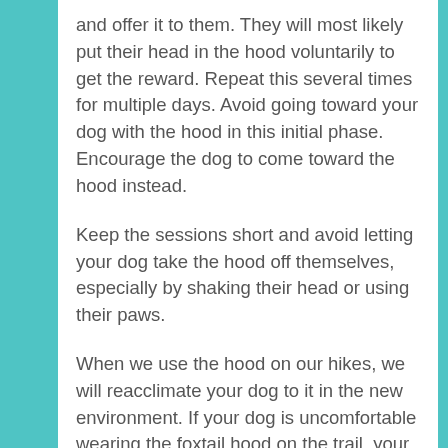and offer it to them. They will most likely put their head in the hood voluntarily to get the reward. Repeat this several times for multiple days. Avoid going toward your dog with the hood in this initial phase. Encourage the dog to come toward the hood instead.
Keep the sessions short and avoid letting your dog take the hood off themselves, especially by shaking their head or using their paws.
When we use the hood on our hikes, we will reacclimate your dog to it in the new environment. If your dog is uncomfortable wearing the foxtail hood on the trail, your SCRUF service provider will help develop a strategy for how we can get to maximum fun with maximum safety.
MY DOG USUALLY WEARS A MUZZLE